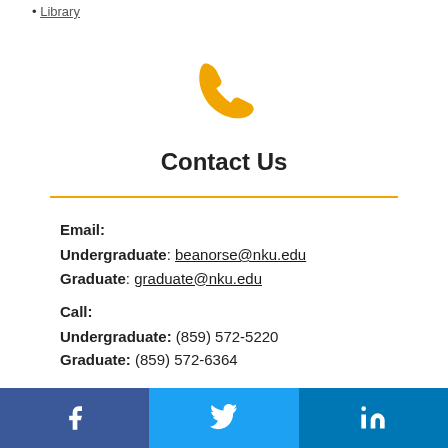Library
[Figure (illustration): Gold/yellow telephone handset icon]
Contact Us
Email:
Undergraduate: beanorse@nku.edu
Graduate: graduate@nku.edu
Call:
Undergraduate: (859) 572-5220
Graduate: (859) 572-6364
[Figure (other): Social media bar with Facebook, Twitter, and LinkedIn icons]